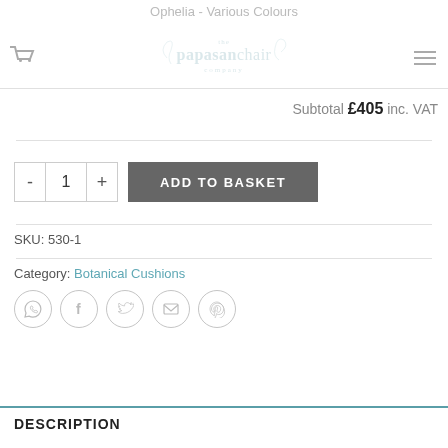Ophelia - Various Colours | The Papasan Chair Company
Subtotal £405 inc. VAT
- 1 + ADD TO BASKET
SKU: 530-1
Category: Botanical Cushions
[Figure (infographic): Social share icons in circles: WhatsApp, Facebook, Twitter, Email, Pinterest]
DESCRIPTION